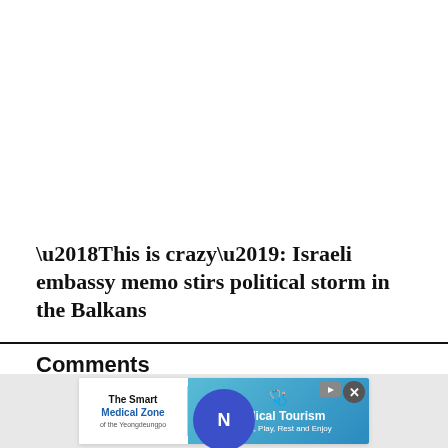‘This is crazy’: Israeli embassy memo stirs political storm in the Balkans
Comments
[Figure (screenshot): Social share bar with Twitter, Facebook, bookmark, and email icons, and a blue circular Newsweek logo button in the center]
[Figure (screenshot): Advertisement banner: The Smart Medical Zone of the Yeongdeungpo / Medical Tourism with Eat, Play, Rest and Enjoy]